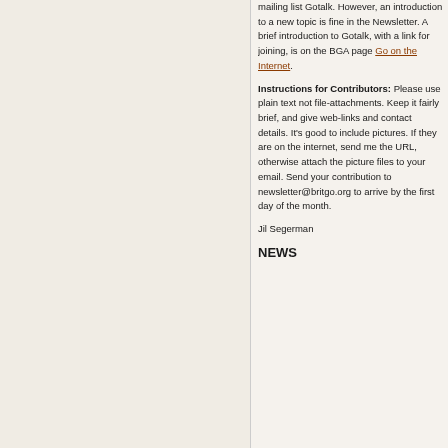mailing list Gotalk. However, an introduction to a new topic is fine in the Newsletter. A brief introduction to Gotalk, with a link for joining, is on the BGA page Go on the Internet.
Instructions for Contributors: Please use plain text not file-attachments. Keep it fairly brief, and give web-links and contact details. It's good to include pictures. If they are on the internet, send me the URL, otherwise attach the picture files to your email. Send your contribution to newsletter@britgo.org to arrive by the first day of the month.
Jil Segerman
NEWS